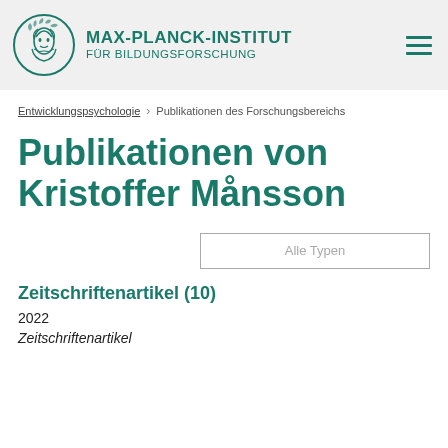MAX-PLANCK-INSTITUT FÜR BILDUNGSFORSCHUNG
Entwicklungspsychologie > Publikationen des Forschungsbereichs
Publikationen von Kristoffer Månsson
Alle Typen
Zeitschriftenartikel (10)
2022
Zeitschriftenartikel